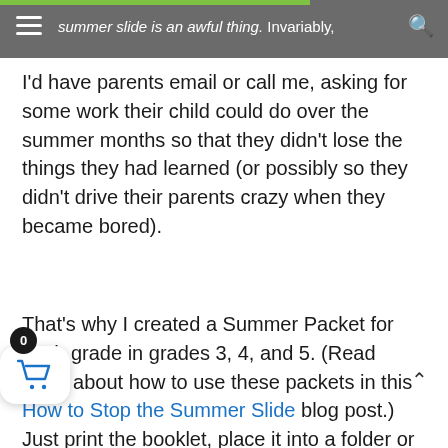That summer slide is an awful thing. Invariably,
I'd have parents email or call me, asking for some work their child could do over the summer months so that they didn't lose the things they had learned (or possibly so they didn't drive their parents crazy when they became bored).
That's why I created a Summer Packet for each grade in grades 3, 4, and 5. (Read more about how to use these packets in this How to Stop the Summer Slide blog post.) Just print the booklet, place it into a folder or bind it into a booklet, and send it home with the child. It includes a summer journal and summer reading challenge. I suggest offering a small prize to each student who brings back the journal or reading challenge completed